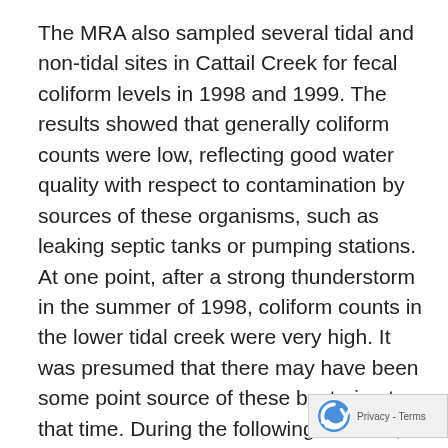The MRA also sampled several tidal and non-tidal sites in Cattail Creek for fecal coliform levels in 1998 and 1999. The results showed that generally coliform counts were low, reflecting good water quality with respect to contamination by sources of these organisms, such as leaking septic tanks or pumping stations. At one point, after a strong thunderstorm in the summer of 1998, coliform counts in the lower tidal creek were very high. It was presumed that there may have been some point source of these bacteria at that time. During the following summer, 1999, the MRA sponsored a study of the entire Cattail Creek watershed for possible sources of fecal coliforms. 1999 turned out to be a year of major drought and there were no sources of fecal